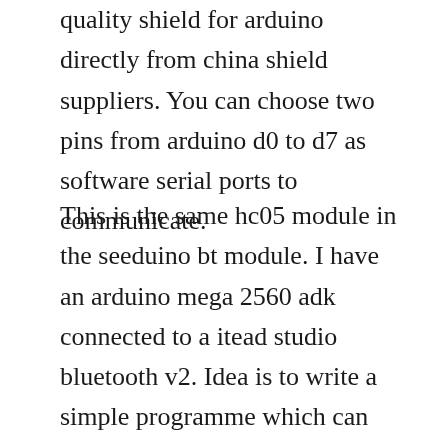quality shield for arduino directly from china shield suppliers. You can choose two pins from arduino d0 to d7 as software serial ports to communicate.
This is the same hc05 module in the seeduino bt module. I have an arduino mega 2560 adk connected to a itead studio bluetooth v2. Idea is to write a simple programme which can pull sensor data from sensor board. The standard arduino board will be used in this procedure but the method applies for the mini as well. You can use it simply for a serial port